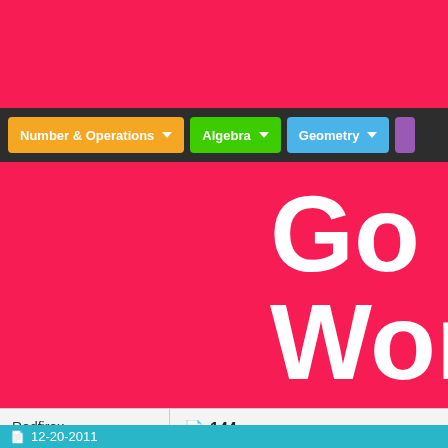[Figure (screenshot): Navigation bar with colored dropdown buttons: Number & Operations (orange), Algebra (green), Geometry (blue), and a partial purple button]
Go to
Work
Redfirex
Guest

Posts: n/a
144
12 * 12 = 144
12-20-2011